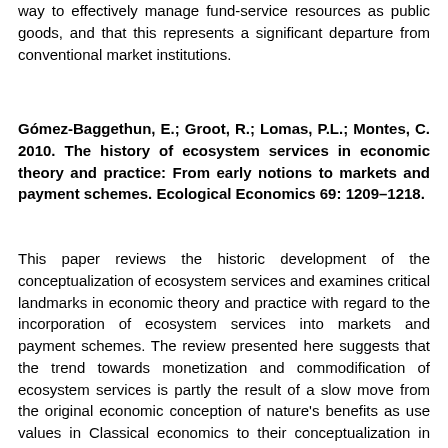way to effectively manage fund-service resources as public goods, and that this represents a significant departure from conventional market institutions.
Gómez-Baggethun, E.; Groot, R.; Lomas, P.L.; Montes, C. 2010. The history of ecosystem services in economic theory and practice: From early notions to markets and payment schemes. Ecological Economics 69: 1209–1218.
This paper reviews the historic development of the conceptualization of ecosystem services and examines critical landmarks in economic theory and practice with regard to the incorporation of ecosystem services into markets and payment schemes. The review presented here suggests that the trend towards monetization and commodification of ecosystem services is partly the result of a slow move from the original economic conception of nature's benefits as use values in Classical economics to their conceptualization in terms of exchange values in Neoclassical economics. The